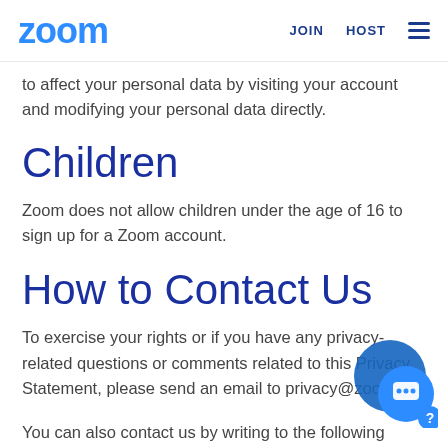zoom | JOIN | HOST
to affect your personal data by visiting your account and modifying your personal data directly.
Children
Zoom does not allow children under the age of 16 to sign up for a Zoom account.
How to Contact Us
To exercise your rights or if you have any privacy-related questions or comments related to this Privacy Statement, please send an email to privacy@zoom.us.
You can also contact us by writing to the following address:
Zoom Video Communications,